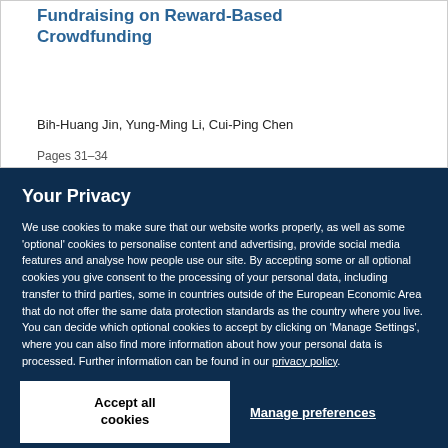Fundraising on Reward-Based Crowdfunding
Bih-Huang Jin, Yung-Ming Li, Cui-Ping Chen
Pages 31–34
Your Privacy
We use cookies to make sure that our website works properly, as well as some 'optional' cookies to personalise content and advertising, provide social media features and analyse how people use our site. By accepting some or all optional cookies you give consent to the processing of your personal data, including transfer to third parties, some in countries outside of the European Economic Area that do not offer the same data protection standards as the country where you live. You can decide which optional cookies to accept by clicking on 'Manage Settings', where you can also find more information about how your personal data is processed. Further information can be found in our privacy policy.
Accept all cookies
Manage preferences